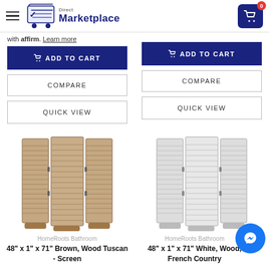Direct Marketplace
with affirm. Learn more
ADD TO CART
COMPARE
QUICK VIEW
ADD TO CART
COMPARE
QUICK VIEW
[Figure (photo): 48" x 1" x 71" Brown wood louver room divider screen, Tuscan style, 3-panel]
HomeRoots Bathroom
48" x 1" x 71" Brown, Wood Tuscan - Screen
[Figure (photo): 48" x 1" x 71" White wood louver room divider screen, French Country style, 3-panel]
HomeRoots Bathroom
48" x 1" x 71" White, Wood, French Country